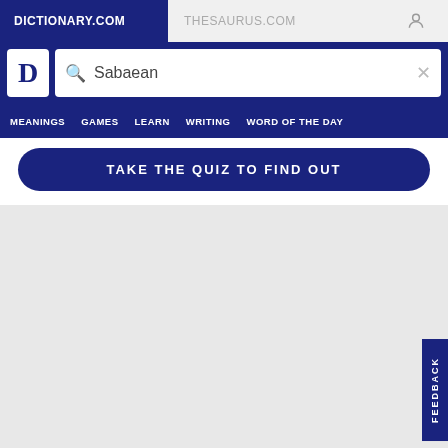DICTIONARY.COM   THESAURUS.COM
[Figure (screenshot): Dictionary.com logo with letter D]
Sabaean
MEANINGS   GAMES   LEARN   WRITING   WORD OF THE DAY
TAKE THE QUIZ TO FIND OUT
FEEDBACK